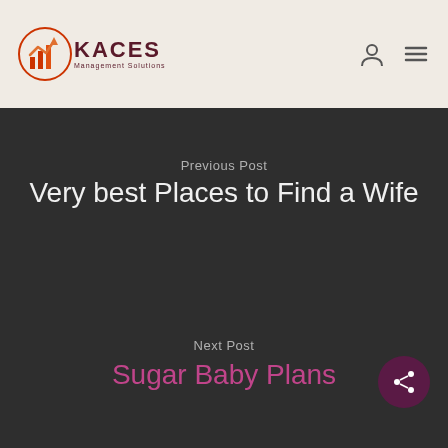[Figure (logo): KACES Management Solutions logo with circular orange/red icon and text]
[Figure (other): User account icon and hamburger menu icon in header]
Previous Post
Very best Places to Find a Wife
Next Post
Sugar Baby Plans
[Figure (other): Share icon button (dark purple circle with share/network symbol)]